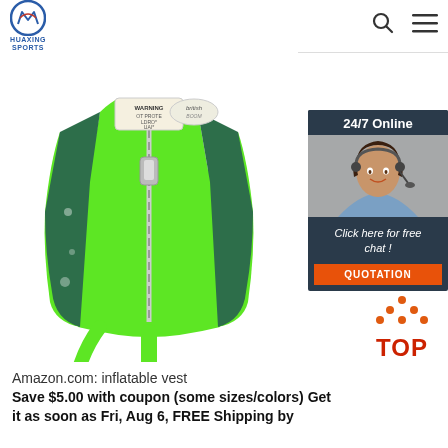HUAXING SPORTS
[Figure (photo): Green children's inflatable swim vest/life jacket with zipper, green straps, and a warning label near the collar. The vest has a teal/green patterned side panel.]
[Figure (photo): Chat widget showing a smiling woman with a headset, labeled '24/7 Online', with 'Click here for free chat!' text and an orange QUOTATION button.]
[Figure (illustration): Orange 'TOP' button with upward-pointing triangle/chevron made of dots above the word TOP in red/orange.]
Amazon.com: inflatable vest
Save $5.00 with coupon (some sizes/colors) Get it as soon as Fri, Aug 6, FREE Shipping by